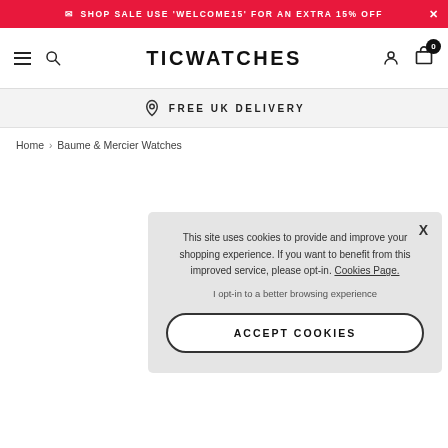SHOP SALE USE 'WELCOME15' FOR AN EXTRA 15% OFF
[Figure (logo): TICWATCHES logo with hamburger menu, search icon, user icon, and cart icon showing 0 items]
FREE UK DELIVERY
Home › Baume & Mercier Watches
This site uses cookies to provide and improve your shopping experience. If you want to benefit from this improved service, please opt-in. Cookies Page.

I opt-in to a better browsing experience

ACCEPT COOKIES